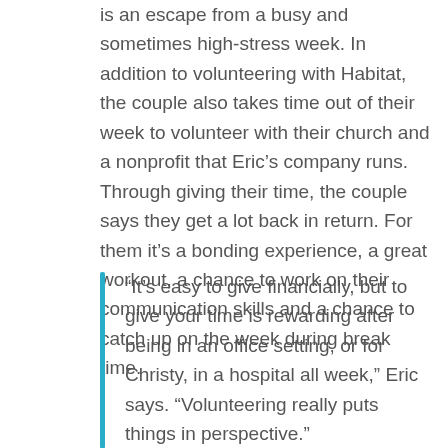is an escape from a busy and sometimes high-stress week. In addition to volunteering with Habitat, the couple also takes time out of their week to volunteer with their church and a nonprofit that Eric's company runs. Through giving their time, the couple says they get a lot back in return. For them it's a bonding experience, a great workout, a chance to work on their communication skills and a chance to catch up on the week during break time.
“It’s easy to give financially, but to give your time is rewarding after being in an office setting, or for Christy, in a hospital all week,” Eric says. “Volunteering really puts things in perspective.”